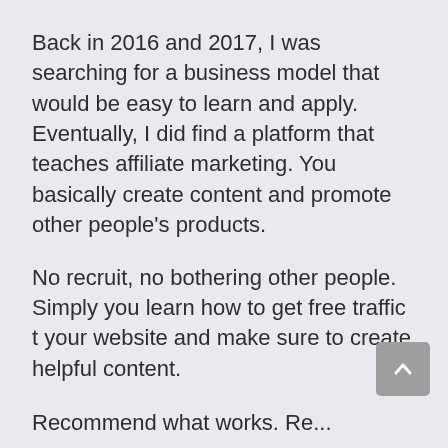Back in 2016 and 2017, I was searching for a business model that would be easy to learn and apply. Eventually, I did find a platform that teaches affiliate marketing. You basically create content and promote other people's products.
No recruit, no bothering other people. Simply you learn how to get free traffic t your website and make sure to create helpful content.
Recommend what works. Re...